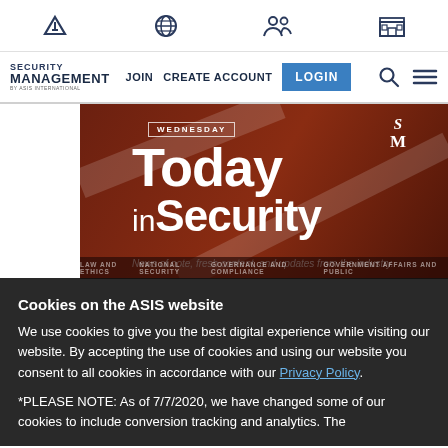Security Management website header with navigation icons
SECURITY MANAGEMENT | JOIN  CREATE ACCOUNT  LOGIN  [search] [menu]
[Figure (screenshot): Today in Security banner on dark brownish-red background. Text: WEDNESDAY, Today in Security, News of note, fresh content, and updates from the industry. SM logo top right.]
Cookies on the ASIS website
We use cookies to give you the best digital experience while visiting our website. By accepting the use of cookies and using our website you consent to all cookies in accordance with our Privacy Policy.
*PLEASE NOTE: As of 7/7/2020, we have changed some of our cookies to include conversion tracking and analytics. The